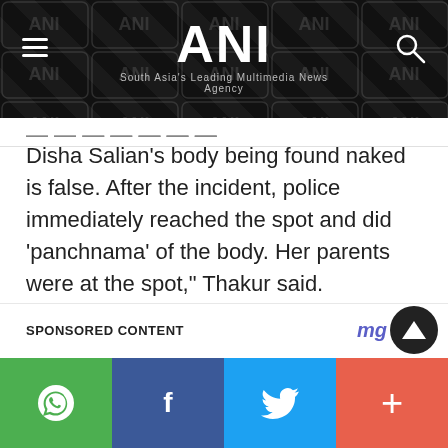ANI – South Asia's Leading Multimedia News Agency
Disha Salian's body being found naked is false. After the incident, police immediately reached the spot and did 'panchnama' of the body. Her parents were at the spot," Thakur said.
Salian had allegedly jumped off the 14th floor of a building in the Jankalyan area of Mumbai's Malad region in June.
SPONSORED CONTENT